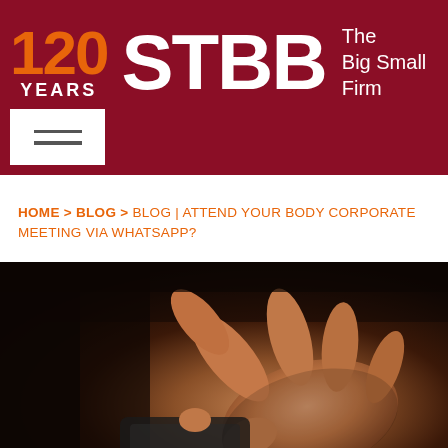[Figure (logo): STBB law firm logo with '120 YEARS' badge in orange on dark red background, large white 'STBB' text, tagline 'The Big Small Firm' in white]
[Figure (other): Hamburger menu icon (three horizontal lines) in white box on dark red header background]
HOME > BLOG > BLOG | ATTEND YOUR BODY CORPORATE MEETING VIA WHATSAPP?
[Figure (photo): Photo of a hand using a smartphone, dark background, close-up shot]